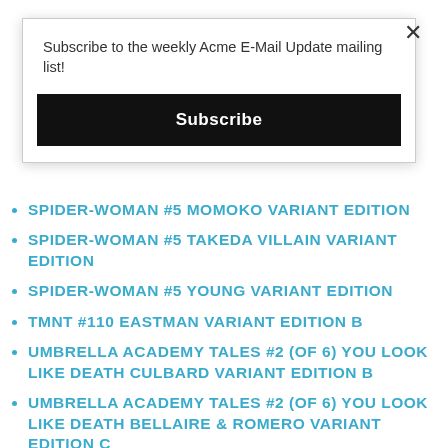Subscribe to the weekly Acme E-Mail Update mailing list!
Subscribe
SPIDER-WOMAN #5 MOMOKO VARIANT EDITION
SPIDER-WOMAN #5 TAKEDA VILLAIN VARIANT EDITION
SPIDER-WOMAN #5 YOUNG VARIANT EDITION
TMNT #110 EASTMAN VARIANT EDITION B
UMBRELLA ACADEMY TALES #2 (OF 6) YOU LOOK LIKE DEATH CULBARD VARIANT EDITION B
UMBRELLA ACADEMY TALES #2 (OF 6) YOU LOOK LIKE DEATH BELLAIRE & ROMERO VARIANT EDITION C
VENOM #29 KUDER FORTNITE VARIANT EDITION
X-MEN #13 ALEX ROSS CYCLOPS TIMELESS VARIANT